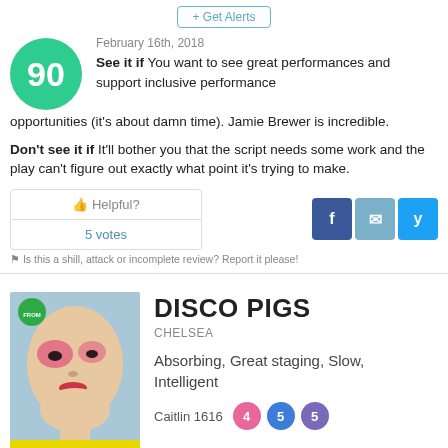+ Get Alerts
90
February 16th, 2018
See it if You want to see great performances and support inclusive performance opportunities (it's about damn time). Jamie Brewer is incredible.
Don't see it if It'll bother you that the script needs some work and the play can't figure out exactly what point it's trying to make.
Helpful?
5 votes
Is this a shill, attack or incomplete review? Report it please!
[Figure (photo): Theater show poster for DISCO PIGS featuring a person with dramatic pink/red eye makeup]
DISCO PIGS
CHELSEA
Absorbing, Great staging, Slow, Intelligent
Caitlin 1616  4  5  5